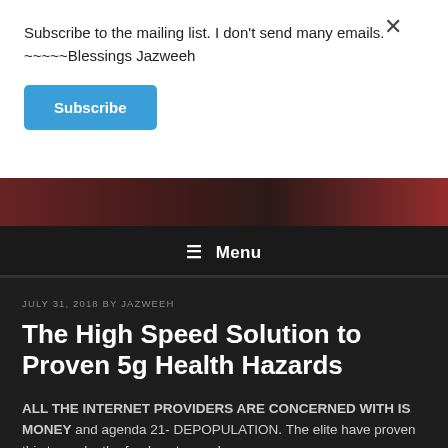Subscribe to the mailing list. I don't send many emails. ~~~~~Blessings Jazweeh
Subscribe
≡ Menu
JULY 31, 2018 BY JAZWEEH
The High Speed Solution to Proven 5g Health Hazards
ALL THE INTERNET PROVIDERS ARE CONCERNED WITH IS MONEY and agenda 21- DEPOPULATION. The elite have proven this to me by the food, water, and now